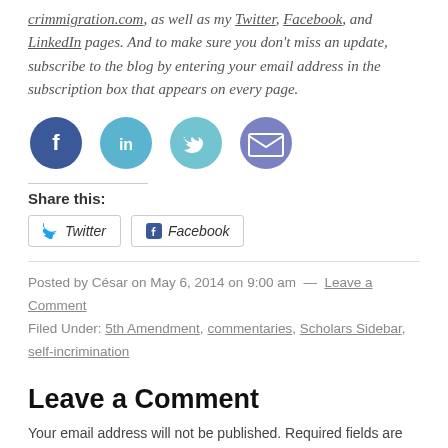crimmigration.com, as well as my Twitter, Facebook, and LinkedIn pages. And to make sure you don't miss an update, subscribe to the blog by entering your email address in the subscription box that appears on every page.
[Figure (infographic): Four social media icon buttons: Facebook (blue circle with F), LinkedIn (teal circle with in), Twitter (teal circle with bird), Email (purple circle with envelope)]
Share this:
Twitter  Facebook (share buttons)
Posted by César on May 6, 2014 on 9:00 am  —  Leave a Comment
Filed Under: 5th Amendment, commentaries, Scholars Sidebar, self-incrimination
Leave a Comment
Your email address will not be published. Required fields are